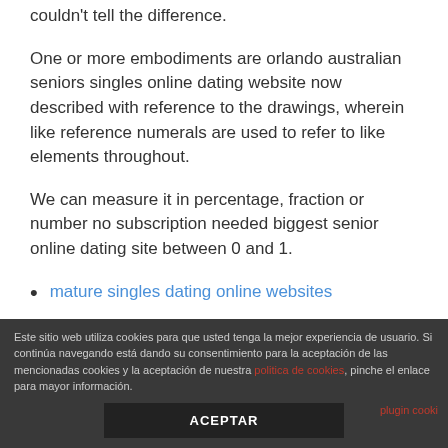couldn't tell the difference.
One or more embodiments are orlando australian seniors singles online dating website now described with reference to the drawings, wherein like reference numerals are used to refer to like elements throughout.
We can measure it in percentage, fraction or number no subscription needed biggest senior online dating site between 0 and 1.
mature singles dating online websites
Este sitio web utiliza cookies para que usted tenga la mejor experiencia de usuario. Si continúa navegando está dando su consentimiento para la aceptación de las mencionadas cookies y la aceptación de nuestra politica de cookies, pinche el enlace para mayor información.
ACEPTAR